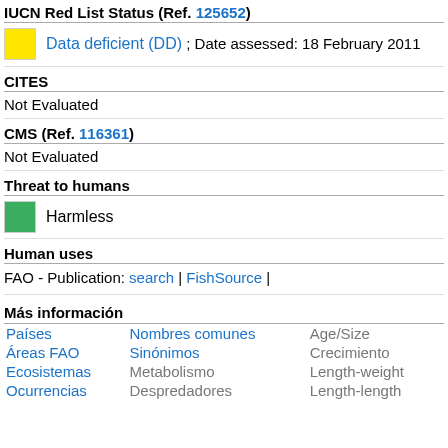IUCN Red List Status (Ref. 125652)
Data deficient (DD) ; Date assessed: 18 February 2011
CITES
Not Evaluated
CMS (Ref. 116361)
Not Evaluated
Threat to humans
Harmless
Human uses
FAO - Publication: search | FishSource |
Más información
|  |  |  |
| --- | --- | --- |
| Países | Nombres comunes | Age/Size |
| Áreas FAO | Sinónimos | Crecimiento |
| Ecosistemas | Metabolismo | Length-weight |
| Ocurrencias | Despredadores | Length-length |